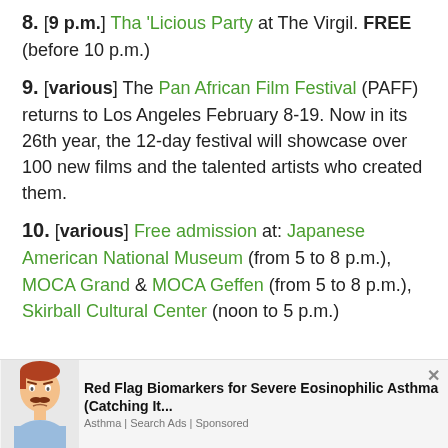8. [9 p.m.] Tha 'Licious Party at The Virgil. FREE (before 10 p.m.)
9. [various] The Pan African Film Festival (PAFF) returns to Los Angeles February 8-19. Now in its 26th year, the 12-day festival will showcase over 100 new films and the talented artists who created them.
10. [various] Free admission at: Japanese American National Museum (from 5 to 8 p.m.), MOCA Grand & MOCA Geffen (from 5 to 8 p.m.), Skirball Cultural Center (noon to 5 p.m.)
[Figure (illustration): Advertisement banner with cartoon illustration of a sad man with a mustache wearing a blue shirt, promoting 'Red Flag Biomarkers for Severe Eosinophilic Asthma (Catching It...' from Asthma Search Ads, Sponsored]